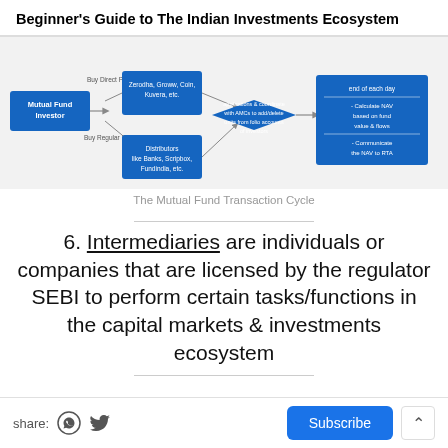Beginner's Guide to The Indian Investments Ecosystem
[Figure (flowchart): The Mutual Fund Transaction Cycle flowchart showing Mutual Fund Investor -> Direct Plans (Zerodha, Groww, Coin, Kuvera etc.) and Regular Plans (Distributors like Banks, Scripbox, Fundindia etc.) -> diamond shape (applications & coordinate with AMCs to add/delete units from folio accounts of investors) -> RTA (end of each day: Calculate NAV based on fund value & flows; Communicate the NAV to RTA)]
The Mutual Fund Transaction Cycle
6. Intermediaries are individuals or companies that are licensed by the regulator SEBI to perform certain tasks/functions in the capital markets & investments ecosystem
share: [whatsapp] [twitter] Subscribe ^